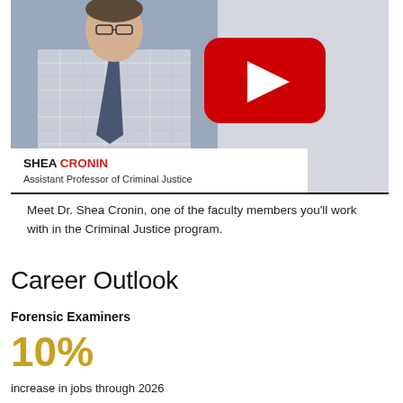[Figure (photo): Video thumbnail showing Dr. Shea Cronin, a man in a plaid shirt and tie, with a YouTube play button overlay. Name card below reads 'SHEA CRONIN, Assistant Professor of Criminal Justice'.]
Meet Dr. Shea Cronin, one of the faculty members you'll work with in the Criminal Justice program.
Career Outlook
Forensic Examiners
10%
increase in jobs through 2026